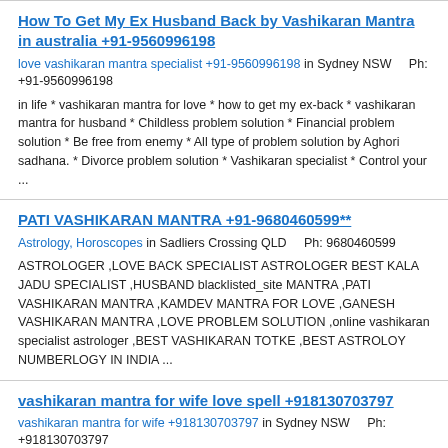How To Get My Ex Husband Back by Vashikaran Mantra in australia +91-9560996198 — love vashikaran mantra specialist +91-9560996198 in Sydney NSW    Ph: +91-9560996198 — in life * vashikaran mantra for love * how to get my ex-back * vashikaran mantra for husband * Childless problem solution * Financial problem solution * Be free from enemy * All type of problem solution by Aghori sadhana. * Divorce problem solution * Vashikaran specialist * Control your ...
PATI VASHIKARAN MANTRA +91-9680460599** — Astrology, Horoscopes in Sadliers Crossing QLD    Ph: 9680460599 — ASTROLOGER ,LOVE BACK SPECIALIST ASTROLOGER BEST KALA JADU SPECIALIST ,HUSBAND blacklisted_site MANTRA ,PATI VASHIKARAN MANTRA ,KAMDEV MANTRA FOR LOVE ,GANESH VASHIKARAN MANTRA ,LOVE PROBLEM SOLUTION ,online vashikaran specialist astrologer ,BEST VASHIKARAN TOTKE ,BEST ASTROLOY NUMBERLOGY IN INDIA ...
vashikaran mantra for wife love spell +918130703797 — vashikaran mantra for wife +918130703797 in Sydney NSW    Ph: +918130703797 — him. there is no Consultation Charges. Any problems in the life get solution as your des Love priest -Love Solution- Love Problem -Vashikaran mantra for love { babaji} aghori ji is an uniqe name by his identy in astrological field .